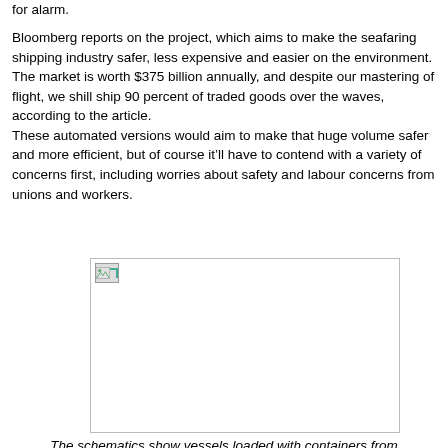for alarm.
Bloomberg reports on the project, which aims to make the seafaring shipping industry safer, less expensive and easier on the environment.
The market is worth $375 billion annually, and despite our mastering of flight, we shill ship 90 percent of traded goods over the waves, according to the article.
These automated versions would aim to make that huge volume safer and more efficient, but of course it’ll have to contend with a variety of concerns first, including worries about safety and labour concerns from unions and workers.
[Figure (photo): Broken/missing image placeholder showing vessel schematics]
The schematics show vessels loaded with containers from